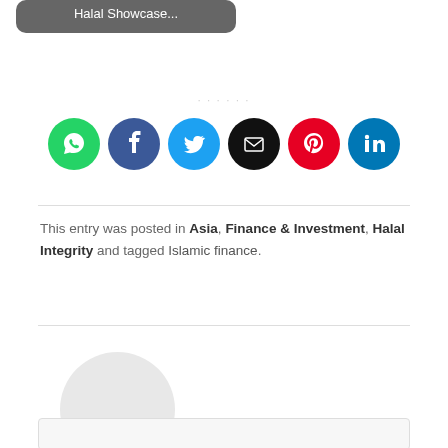[Figure (screenshot): Partial card with grey background showing text 'Halal Showcase...']
[Figure (infographic): Row of 6 social sharing icon buttons: WhatsApp (green), Facebook (dark blue), Twitter (light blue), Email (black), Pinterest (red), LinkedIn (blue)]
This entry was posted in Asia, Finance & Investment, Halal Integrity and tagged Islamic finance.
[Figure (photo): Circular avatar placeholder in light grey]
[Figure (screenshot): Partial bottom card, light grey background, partially visible]